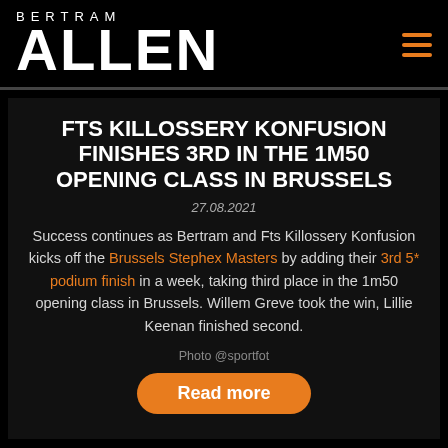BERTRAM ALLEN
FTS KILLOSSERY KONFUSION FINISHES 3RD IN THE 1M50 OPENING CLASS IN BRUSSELS
27.08.2021
Success continues as Bertram and Fts Killossery Konfusion kicks off the Brussels Stephex Masters by adding their 3rd 5* podium finish in a week, taking third place in the 1m50 opening class in Brussels. Willem Greve took the win, Lillie Keenan finished second.
Photo @sportfot
Read more